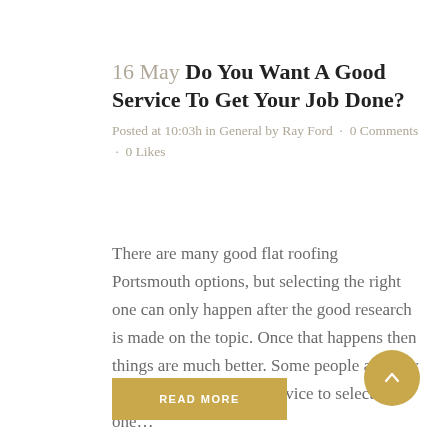16 May Do You Want A Good Service To Get Your Job Done?
Posted at 10:03h in General by Ray Ford · 0 Comments · 0 Likes
There are many good flat roofing Portsmouth options, but selecting the right one can only happen after the good research is made on the topic. Once that happens then things are much better. Some people are very confused about which service to select and one…
READ MORE